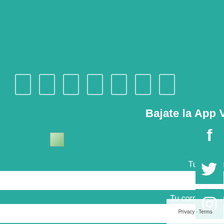[Figure (infographic): Row of 7 small rectangular icon outlines (white bordered boxes) on teal background, representing app/menu icons]
Bajate la App Viví La Costa
[Figure (other): Two app store badge placeholder images (Google Play and App Store) side by side]
Tu nombre
[Figure (other): White input field for name]
Tu correo electrónico
[Figure (other): White input field for email]
[Figure (other): Social media sidebar with Facebook, Twitter, Instagram, and WhatsApp icons on the right edge]
Privacy · Terms